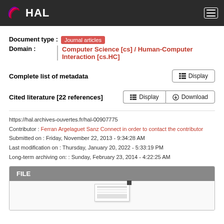HAL
Document type : Journal articles
Domain : Computer Science [cs] / Human-Computer Interaction [cs.HC]
Complete list of metadata  Display
Cited literature [22 references]  Display  Download
https://hal.archives-ouvertes.fr/hal-00907775
Contributor : Ferran Argelaguet Sanz Connect in order to contact the contributor
Submitted on : Friday, November 22, 2013 - 9:34:28 AM
Last modification on : Thursday, January 20, 2022 - 5:33:19 PM
Long-term archiving on: : Sunday, February 23, 2014 - 4:22:25 AM
[Figure (other): FILE section with document preview thumbnail]